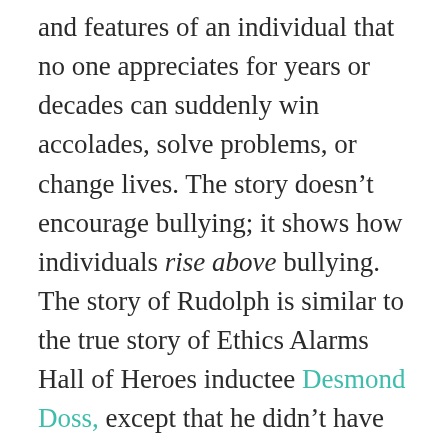and features of an individual that no one appreciates for years or decades can suddenly win accolades, solve problems, or change lives. The story doesn't encourage bullying; it shows how individuals rise above bullying. The story of Rudolph is similar to the true story of Ethics Alarms Hall of Heroes inductee Desmond Doss, except that he didn't have antlers.